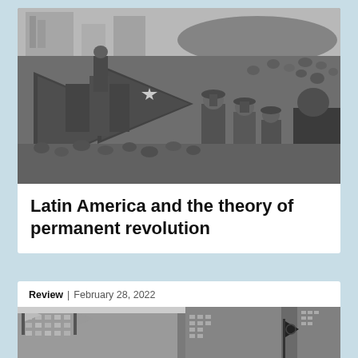[Figure (photo): Black and white photograph of a large crowd gathered at a political rally, with soldiers and Cuban flags visible in the foreground and a speaker at a podium]
Latin America and the theory of permanent revolution
Review | February 28, 2022
[Figure (photo): Two photos side by side: left shows buildings with flags, right shows a dark flag against a building]